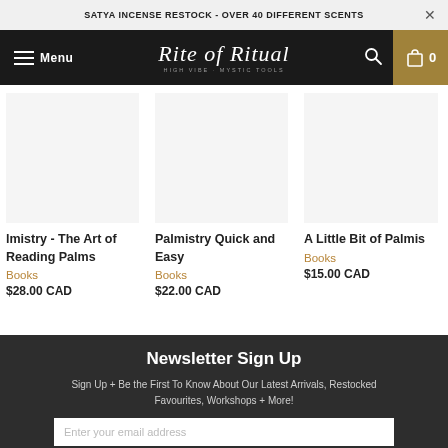SATYA INCENSE RESTOCK - OVER 40 DIFFERENT SCENTS
[Figure (screenshot): Navigation bar with menu icon, 'Rite of Ritual' logo in script font, search icon, and cart with count 0 on gold background]
Imistry - The Art of Reading Palms
Books
$28.00 CAD
Palmistry Quick and Easy
Books
$22.00 CAD
A Little Bit of Palmis
Books
$15.00 CAD
Newsletter Sign Up
Sign Up + Be the First To Know About Our Latest Arrivals, Restocked Favourites, Workshops + More!
Enter your email address